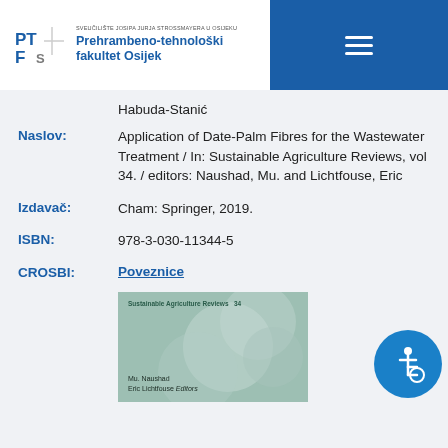Prehrambeno-tehnološki fakultet Osijek
Habuda-Stanić
| Label | Value |
| --- | --- |
| Naslov: | Application of Date-Palm Fibres for the Wastewater Treatment / In: Sustainable Agriculture Reviews, vol 34. / editors: Naushad, Mu. and Lichtfouse, Eric |
| Izdavač: | Cham: Springer, 2019. |
| ISBN: | 978-3-030-11344-5 |
| CROSBI: | Poveznice |
[Figure (photo): Book cover of Sustainable Agriculture Reviews, vol 34, edited by Mu. Naushad and Eric Lichtfouse, published by Springer.]